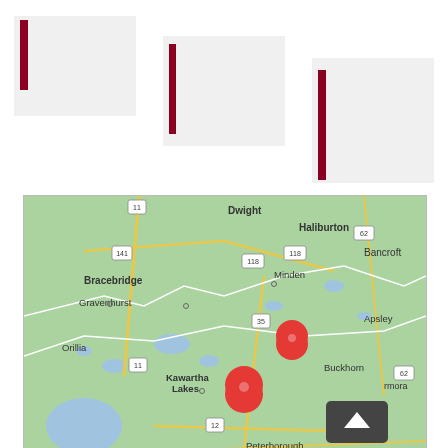[Figure (other): Three overlapping light gray cards with dark red vertical bars on the left side, staggered vertically]
[Figure (map): Google Maps screenshot showing central Ontario, Canada, with place names including Dwight, Bracebridge, Haliburton, Bancroft, Gravenhurst, Minden, Apsley, Orillia, Kawartha Lakes, Buckhorn, Lakefield, Peterborough, Marmora. Two red map pin markers are visible near Kawartha Lakes area. A dark navigation button appears in lower right.]